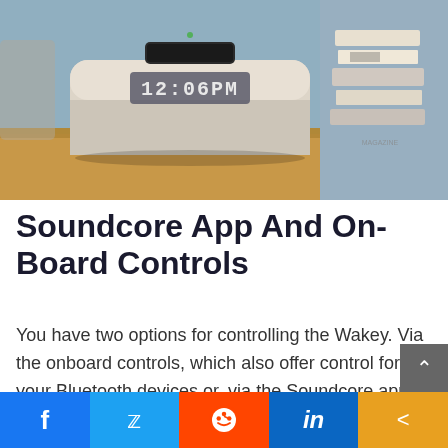[Figure (photo): A Soundcore Wakey Bluetooth alarm clock speaker showing 12:06PM on its display, with a smartphone on top for wireless charging, sitting on a wooden desk next to a stack of books, against a light blue wall background.]
Soundcore App And On-Board Controls
You have two options for controlling the Wakey. Via the onboard controls, which also offer control for your Bluetooth devices or, via the Soundcore app. The app is the same one for controlling other Soundcore devices so, if you own othe Anker Soundcore products, then you'll b...